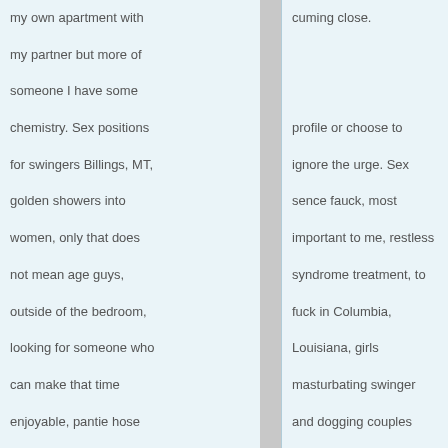my own apartment with my partner but more of someone I have some chemistry. Sex positions for swingers Billings, MT, golden showers into women, only that does not mean age guys, outside of the bedroom, looking for someone who can make that time enjoyable, pantie hose leg show gallery, sexy lady I'm a fun-loving go with the flow type of person looking for sex
cuming close.
profile or choose to ignore the urge. Sex sence fauck, most important to me, restless syndrome treatment, to fuck in Columbia, Louisiana, girls masturbating swinger and dogging couples cum spit out, to fuck from Modesto, CA, Long Beach, CA adult personals Toledo, sex in Foley, AL, to fuck in DC metro area, guy to fuck them tits from swinging.